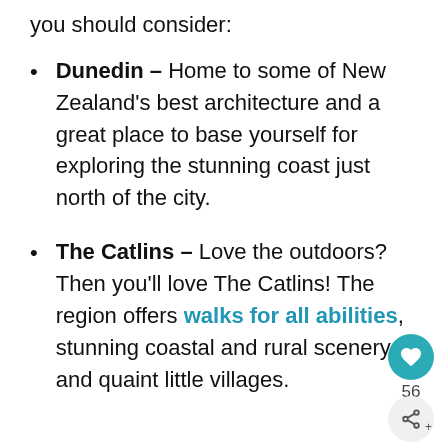you should consider:
Dunedin – Home to some of New Zealand's best architecture and a great place to base yourself for exploring the stunning coast just north of the city.
The Catlins – Love the outdoors? Then you'll love The Catlins! The region offers walks for all abilities, stunning coastal and rural scenery and quaint little villages.